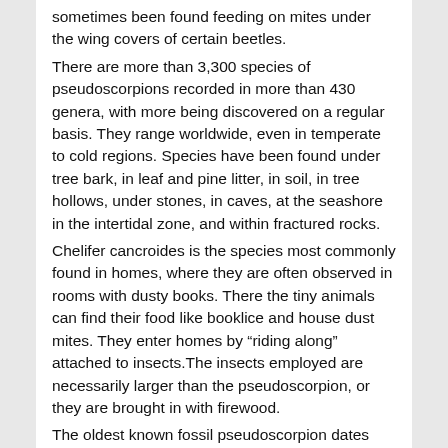sometimes been found feeding on mites under the wing covers of certain beetles.
There are more than 3,300 species of pseudoscorpions recorded in more than 430 genera, with more being discovered on a regular basis. They range worldwide, even in temperate to cold regions. Species have been found under tree bark, in leaf and pine litter, in soil, in tree hollows, under stones, in caves, at the seashore in the intertidal zone, and within fractured rocks.
Chelifer cancroides is the species most commonly found in homes, where they are often observed in rooms with dusty books. There the tiny animals can find their food like booklice and house dust mites. They enter homes by “riding along” attached to insects.The insects employed are necessarily larger than the pseudoscorpion, or they are brought in with firewood.
The oldest known fossil pseudoscorpion dates back 380 million years to the Devonian period. It has all of the traits of a modern pseudoscorpion, indicating that the order evolved very early in the history of land animals. As with most other arachnid orders, the pseudoscorpions have